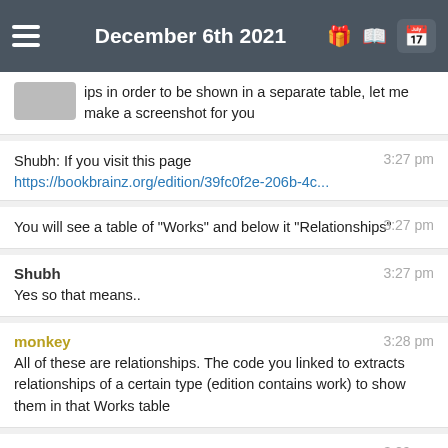December 6th 2021
ips in order to be shown in a separate table, let me make a screenshot for you
Shubh: If you visit this page
https://bookbrainz.org/edition/39fc0f2e-206b-4c...
3:27 pm
You will see a table of "Works" and below it "Relationships"
3:27 pm
Shubh
Yes so that means..
3:27 pm
monkey
All of these are relationships. The code you linked to extracts relationships of a certain type (edition contains work) to show them in that Works table
3:28 pm
But if you're looking for how to get data from the
3:29 pm